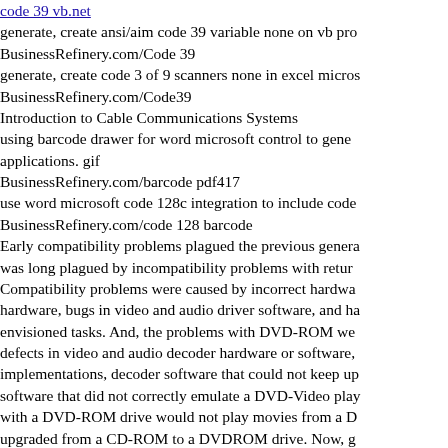code 39 vb.net
generate, create ansi/aim code 39 variable none on vb pro
BusinessRefinery.com/Code 39
generate, create code 3 of 9 scanners none in excel micros
BusinessRefinery.com/Code39
Introduction to Cable Communications Systems
using barcode drawer for word microsoft control to generate applications. gif
BusinessRefinery.com/barcode pdf417
use word microsoft code 128c integration to include code
BusinessRefinery.com/code 128 barcode
Early compatibility problems plagued the previous genera was long plagued by incompatibility problems with retur Compatibility problems were caused by incorrect hardwa hardware, bugs in video and audio driver software, and ha envisioned tasks. And, the problems with DVD-ROM we defects in video and audio decoder hardware or software, implementations, decoder software that could not keep up software that did not correctly emulate a DVD-Video play with a DVD-ROM drive would not play movies from a D upgraded from a CD-ROM to a DVDROM drive. Now, g been an issue on all except the lat-
rdlc pdf 417
using barcode integrating for rdlc control to generate, cre
BusinessRefinery.com/pdf417 2d barcode
net code 39 reader